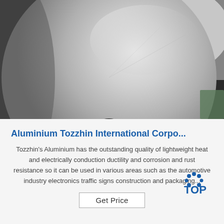[Figure (photo): A large roll of aluminium foil viewed from the front, showing the circular cross-section with a central hole/core. The roll has a shiny metallic silver surface. Background includes white paper wrapping and a dark environment.]
Aluminium Tozzhin International Corpo...
Tozzhin's Aluminium has the outstanding quality of lightweight heat and electrically conduction ductility and corrosion and rust resistance so it can be used in various areas such as the automotive industry electronics traffic signs construction and packaging...
Get Price